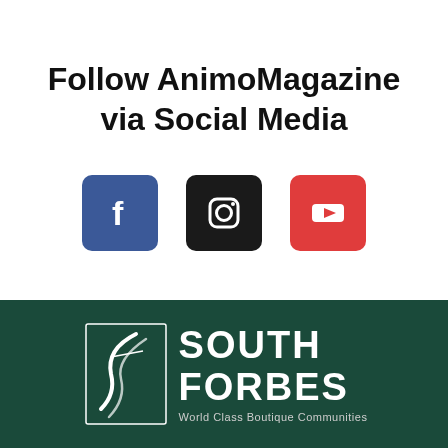Follow AnimoMagazine via Social Media
[Figure (logo): Three social media icon buttons: Facebook (blue rounded square with 'f'), Instagram (dark rounded square with camera icon), YouTube (red rounded square with play button)]
[Figure (logo): South Forbes golf club logo - white S-curve graphic mark with text 'SOUTH FORBES' and tagline 'World Class Boutique Communities' on dark green background]